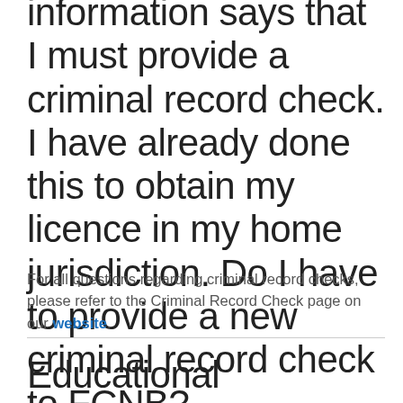information says that I must provide a criminal record check. I have already done this to obtain my licence in my home jurisdiction. Do I have to provide a new criminal record check to FCNB?
For all questions regarding criminal record checks, please refer to the Criminal Record Check page on our website.
Educational Requirements